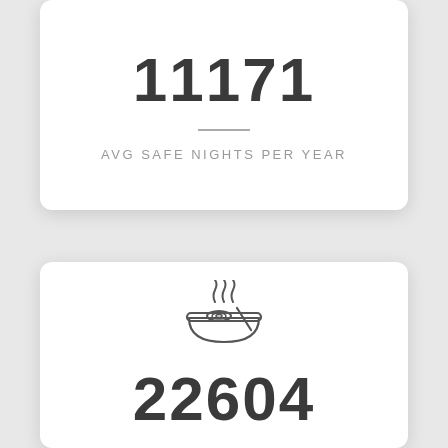11171
AVG SAFE NIGHTS PER YEAR
[Figure (illustration): Icon of a steaming bowl of noodles/ramen with steam lines rising above it]
22604